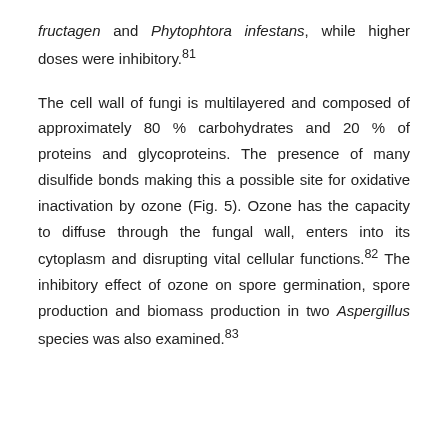fructagen and Phytophtora infestans, while higher doses were inhibitory.81
The cell wall of fungi is multilayered and composed of approximately 80 % carbohydrates and 20 % of proteins and glycoproteins. The presence of many disulfide bonds making this a possible site for oxidative inactivation by ozone (Fig. 5). Ozone has the capacity to diffuse through the fungal wall, enters into its cytoplasm and disrupting vital cellular functions.82 The inhibitory effect of ozone on spore germination, spore production and biomass production in two Aspergillus species was also examined.83